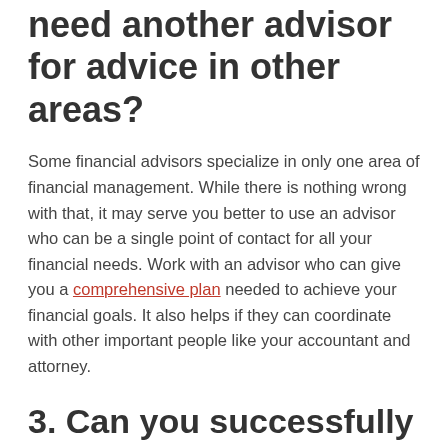need another advisor for advice in other areas?
Some financial advisors specialize in only one area of financial management. While there is nothing wrong with that, it may serve you better to use an advisor who can be a single point of contact for all your financial needs. Work with an advisor who can give you a comprehensive plan needed to achieve your financial goals. It also helps if they can coordinate with other important people like your accountant and attorney.
3. Can you successfully navigate the complicated